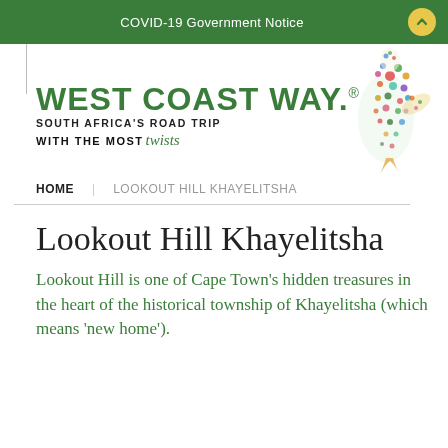COVID-19 Government Notice
[Figure (logo): West Coast Way logo with decorative bird illustration. Text reads: WEST COAST WAY. SOUTH AFRICA'S ROAD TRIP WITH THE MOST twists]
HOME   LOOKOUT HILL KHAYELITSHA
Lookout Hill Khayelitsha
Lookout Hill is one of Cape Town's hidden treasures in the heart of the historical township of Khayelitsha (which means 'new home').